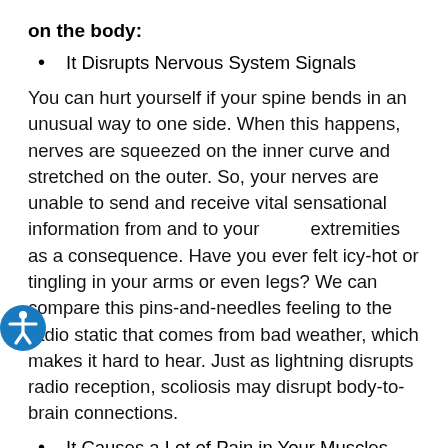on the body:
It Disrupts Nervous System Signals
You can hurt yourself if your spine bends in an unusual way to one side. When this happens, nerves are squeezed on the inner curve and stretched on the outer. So, your nerves are unable to send and receive vital sensational information from and to your extremities as a consequence. Have you ever felt icy-hot or tingling in your arms or even legs? We can compare this pins-and-needles feeling to the radio static that comes from bad weather, which makes it hard to hear. Just as lightning disrupts radio reception, scoliosis may disrupt body-to-brain connections.
It Causes a Lot of Pain in Your Muscles
Scoliosis can be caused by many different things, but